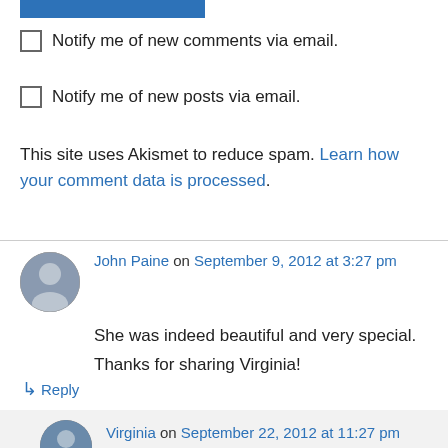[Figure (other): Blue button/bar at top]
Notify me of new comments via email.
Notify me of new posts via email.
This site uses Akismet to reduce spam. Learn how your comment data is processed.
John Paine on September 9, 2012 at 3:27 pm
She was indeed beautiful and very special.
Thanks for sharing Virginia!
↳ Reply
Virginia on September 22, 2012 at 11:27 pm